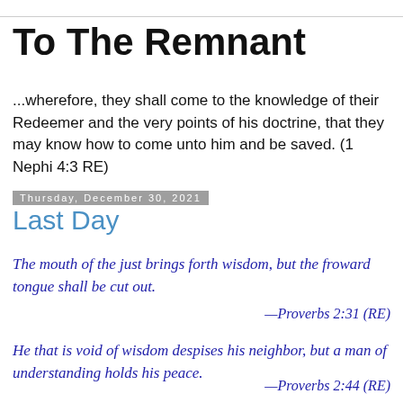To The Remnant
...wherefore, they shall come to the knowledge of their Redeemer and the very points of his doctrine, that they may know how to come unto him and be saved. (1 Nephi 4:3 RE)
Thursday, December 30, 2021
Last Day
The mouth of the just brings forth wisdom, but the froward tongue shall be cut out.
—Proverbs 2:31 (RE)
He that is void of wisdom despises his neighbor, but a man of understanding holds his peace.
—Proverbs 2:44 (RE)